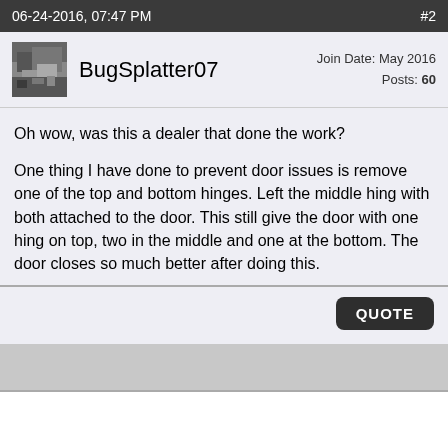06-24-2016, 07:47 PM   #2
BugSplatter07   Join Date: May 2016  Posts: 60
Oh wow, was this a dealer that done the work?
One thing I have done to prevent door issues is remove one of the top and bottom hinges. Left the middle hing with both attached to the door. This still give the door with one hing on top, two in the middle and one at the bottom. The door closes so much better after doing this.